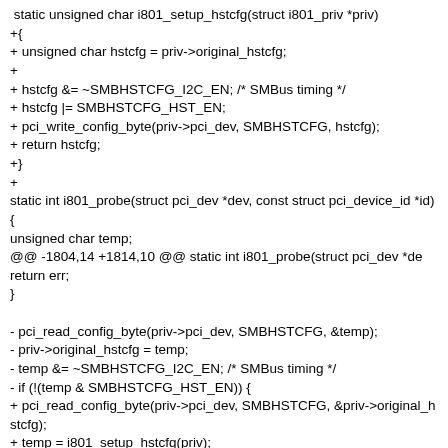static unsigned char i801_setup_hstcfg(struct i801_priv *priv)
+{
+ unsigned char hstcfg = priv->original_hstcfg;
+
+ hstcfg &= ~SMBHSTCFG_I2C_EN; /* SMBus timing */
+ hstcfg |= SMBHSTCFG_HST_EN;
+ pci_write_config_byte(priv->pci_dev, SMBHSTCFG, hstcfg);
+ return hstcfg;
+}
+
static int i801_probe(struct pci_dev *dev, const struct pci_device_id *id)
{
unsigned char temp;
@@ -1804,14 +1814,10 @@ static int i801_probe(struct pci_dev *de
return err;
}

- pci_read_config_byte(priv->pci_dev, SMBHSTCFG, &temp);
- priv->original_hstcfg = temp;
- temp &= ~SMBHSTCFG_I2C_EN; /* SMBus timing */
- if (!(temp & SMBHSTCFG_HST_EN)) {
+ pci_read_config_byte(priv->pci_dev, SMBHSTCFG, &priv->original_hstcfg);
+ temp = i801_setup_hstcfg(priv);